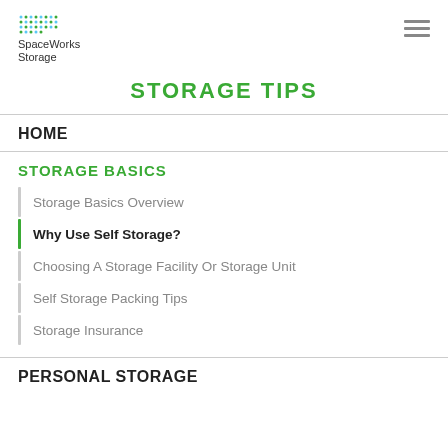[Figure (logo): SpaceWorks Storage logo with colorful dot grid and company name text]
STORAGE TIPS
HOME
STORAGE BASICS
Storage Basics Overview
Why Use Self Storage?
Choosing A Storage Facility Or Storage Unit
Self Storage Packing Tips
Storage Insurance
PERSONAL STORAGE